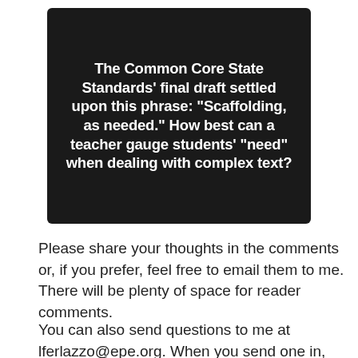[Figure (other): Dark black rounded rectangle containing bold white text: 'The Common Core State Standards' final draft settled upon this phrase: "Scaffolding, as needed." How best can a teacher gauge students' "need" when dealing with complex text?']
Please share your thoughts in the comments or, if you prefer, feel free to email them to me. There will be plenty of space for reader comments.
You can also send questions to me at lferlazzo@epe.org. When you send one in, let me know if I...